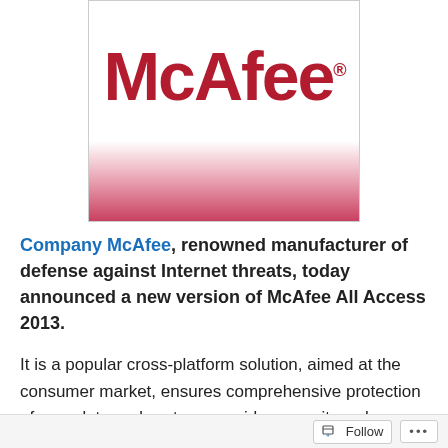[Figure (logo): McAfee logo — bold dark red text 'McAfee' with registered trademark symbol on a white background, below which is a gradient fading from white to deep pink/red.]
Company McAfee, renowned manufacturer of defense against Internet threats, today announced a new version of McAfee All Access 2013.
It is a popular cross-platform solution, aimed at the consumer market, ensures comprehensive protection of user data and system, provides security web-surfing, and
Follow ···